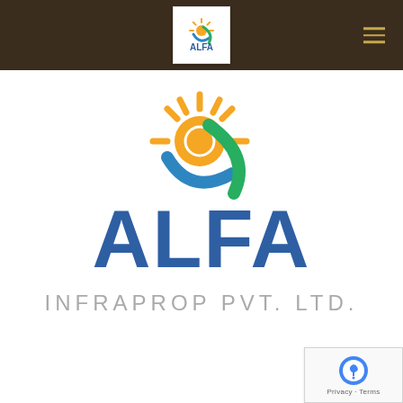[Figure (logo): ALFA Infraprop Pvt. Ltd. navigation bar logo in white box on dark brown header]
[Figure (logo): ALFA INFRAPROP PVT. LTD. main company logo with sun/swirl icon in orange, blue and green, company name in bold blue letters, tagline in gray]